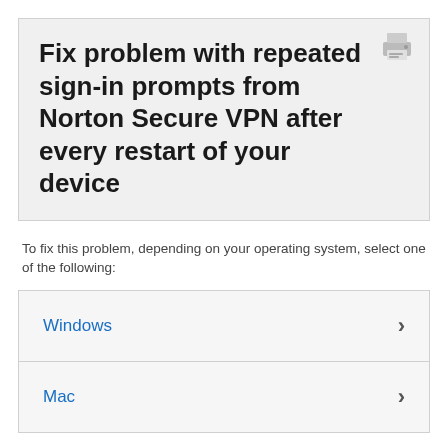Fix problem with repeated sign-in prompts from Norton Secure VPN after every restart of your device
To fix this problem, depending on your operating system, select one of the following:
Windows
Mac
Dzięki temu rozwiązaniu udało mi się rozwiązać problem.